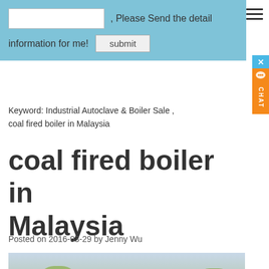Please Send the detail information for me! submit
Keyword: Industrial Autoclave & Boiler Sale , coal fired boiler in Malaysia
coal fired boiler in Malaysia
Posted on 2016-03-29 by Jenny Wu
[Figure (photo): Industrial boiler facility with white tank/vessel and trees in background]